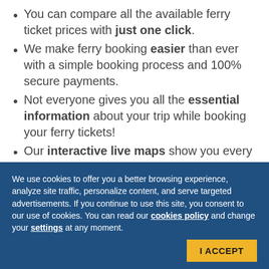You can compare all the available ferry ticket prices with just one click.
We make ferry booking easier than ever with a simple booking process and 100% secure payments.
Not everyone gives you all the essential information about your trip while booking your ferry tickets!
Our interactive live maps show you every detail of your ferry ride.
We let you in on Zakynthos' secrets and guide you
We use cookies to offer you a better browsing experience, analyze site traffic, personalize content, and serve targeted advertisements. If you continue to use this site, you consent to our use of cookies. You can read our cookies policy and change your settings at any moment.